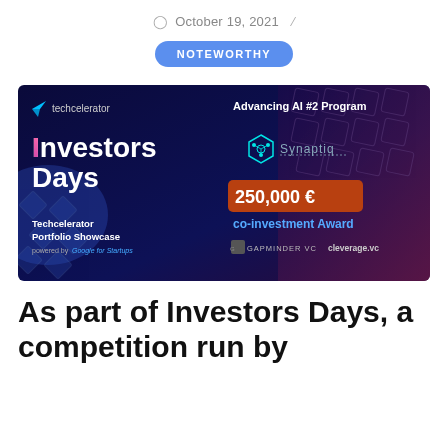October 19, 2021
NOTEWORTHY
[Figure (illustration): Techcelerator Investors Days banner: dark blue background with diamond grid pattern, Techcelerator logo (cyan arrow), 'Investors Days' in large white/pink bold text, 'Techcelerator Portfolio Showcase powered by Google for Startups', 'Advancing AI #2 Program', Synaptiq logo, '250,000 € co-investment Award' in orange/cyan, GAPMINDER VC and cleverage.vc logos]
As part of Investors Days, a competition run by